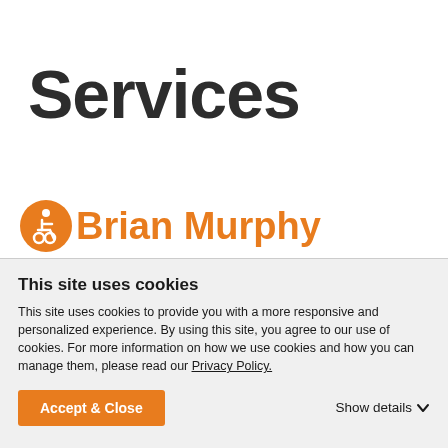Services
Brian Murphy
[Figure (photo): Top of a person's head, partially visible, showing brown skin and short hair against a white background.]
This site uses cookies
This site uses cookies to provide you with a more responsive and personalized experience. By using this site, you agree to our use of cookies. For more information on how we use cookies and how you can manage them, please read our Privacy Policy.
Accept & Close
Show details